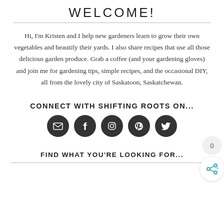WELCOME!
Hi, I'm Kristen and I help new gardeners learn to grow their own vegetables and beautify their yards. I also share recipes that use all those delicious garden produce. Grab a coffee (and your gardening gloves) and join me for gardening tips, simple recipes, and the occasional DIY, all from the lovely city of Saskatoon, Saskatchewan.
CONNECT WITH SHIFTING ROOTS ON...
[Figure (infographic): Five dark circular social media icon buttons: email/envelope, Facebook, Instagram, Pinterest, Twitter. A share widget with count 0 in top right.]
FIND WHAT YOU'RE LOOKING FOR...